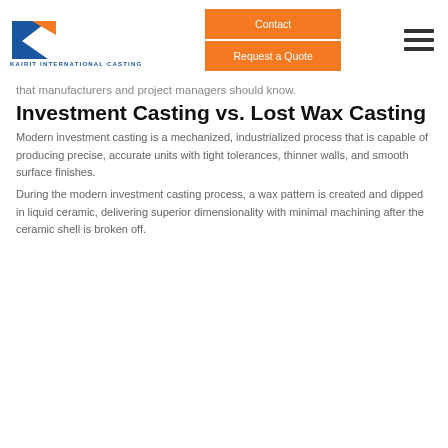[Figure (logo): Kairit International Casting logo: blue K with orange accent, company name below]
[Figure (other): Navigation buttons: Contact and Request a Quote on orange background]
[Figure (other): Hamburger menu icon (three horizontal lines)]
that manufacturers and project managers should know.
Investment Casting vs. Lost Wax Casting
Modern investment casting is a mechanized, industrialized process that is capable of producing precise, accurate units with tight tolerances, thinner walls, and smooth surface finishes.
During the modern investment casting process, a wax pattern is created and dipped in liquid ceramic, delivering superior dimensionality with minimal machining after the ceramic shell is broken off.